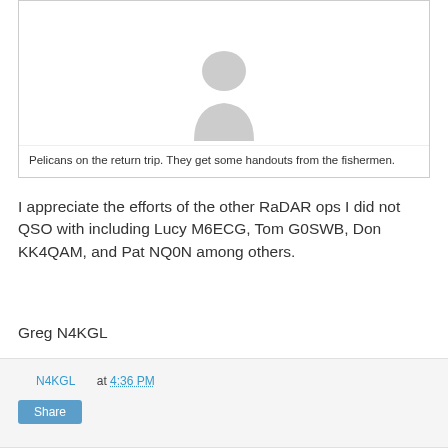[Figure (photo): Placeholder avatar/image area with a gray person silhouette icon at the top, representing a photo of pelicans on a return trip.]
Pelicans on the return trip. They get some handouts from the fishermen.
I appreciate the efforts of the other RaDAR ops I did not QSO with including Lucy M6ECG, Tom G0SWB, Don KK4QAM, and Pat NQ0N among others.
Greg N4KGL
N4KGL at 4:36 PM  Share